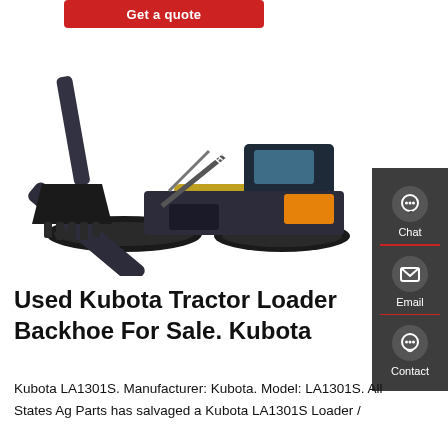[Figure (other): Red 'Get a quote' button at top left]
[Figure (photo): Hyundai excavator / backhoe on white background]
[Figure (other): Dark side panel with Chat, Email, Contact icons]
Used Kubota Tractor Loader Backhoe For Sale. Kubota
Kubota LA1301S. Manufacturer: Kubota. Model: LA1301S. All States Ag Parts has salvaged a Kubota LA1301S Loader /